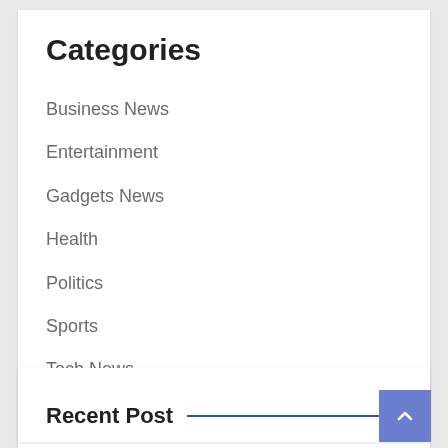Categories
Business News
Entertainment
Gadgets News
Health
Politics
Sports
Tech News
World news
Recent Post